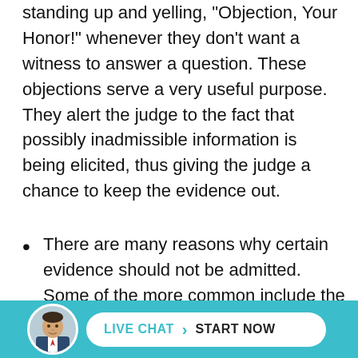standing up and yelling, "Objection, Your Honor!" whenever they don't want a witness to answer a question. These objections serve a very useful purpose. They alert the judge to the fact that possibly inadmissible information is being elicited, thus giving the judge a chance to keep the evidence out.
There are many reasons why certain evidence should not be admitted. Some of the more common include the following:
The testimony is hearsay, which is a second-hand testimony.
T... for... dicial
[Figure (infographic): Live chat bar at the bottom with a circular avatar photo of a man in a suit, and a white pill-shaped button with 'LIVE CHAT > START NOW' text on a teal/cyan background.]